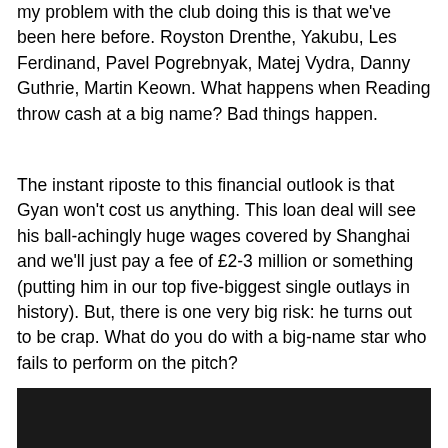my problem with the club doing this is that we've been here before. Royston Drenthe, Yakubu, Les Ferdinand, Pavel Pogrebnyak, Matej Vydra, Danny Guthrie, Martin Keown. What happens when Reading throw cash at a big name? Bad things happen.
The instant riposte to this financial outlook is that Gyan won't cost us anything. This loan deal will see his ball-achingly huge wages covered by Shanghai and we'll just pay a fee of £2-3 million or something (putting him in our top five-biggest single outlays in history). But, there is one very big risk: he turns out to be crap. What do you do with a big-name star who fails to perform on the pitch?
[Figure (photo): Dark/black photograph at the bottom of the page]